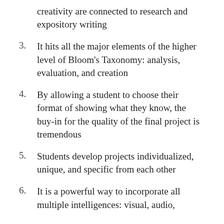creativity are connected to research and expository writing
3.  It hits all the major elements of the higher level of Bloom's Taxonomy: analysis, evaluation, and creation
4.  By allowing a student to choose their format of showing what they know, the buy-in for the quality of the final project is tremendous
5.  Students develop projects individualized, unique, and specific from each other
6.  It is a powerful way to incorporate all multiple intelligences: visual, audio,